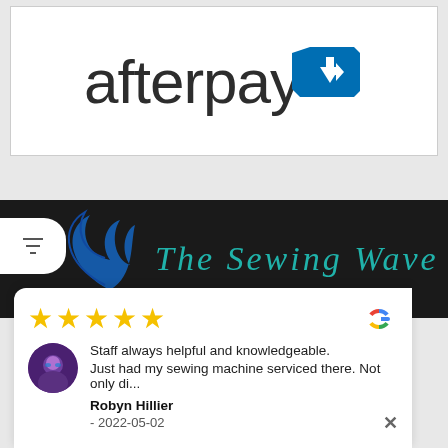[Figure (logo): Afterpay logo — 'afterpay' in dark gray lowercase text followed by the Afterpay arrow triangle icon in blue]
[Figure (logo): The Sewing Wave store banner — dark background with blue wave/bird graphic and teal italic cursive text reading 'The Sewing Wave'. White rounded filter button on left with funnel icon.]
Staff always helpful and knowledgeable.
Just had my sewing machine serviced there. Not only di...
Robyn Hillier
- 2022-05-02